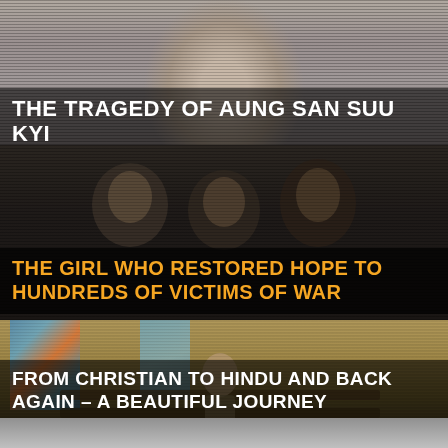[Figure (photo): Close-up photo of a person's face, greyscale/muted tones, top section of page]
THE TRAGEDY OF AUNG SAN SUU KYI
[Figure (photo): Three smiling people photographed together, dark desaturated tones]
THE GIRL WHO RESTORED HOPE TO HUNDREDS OF VICTIMS OF WAR
[Figure (photo): Church interior with stained glass windows, person in foreground]
FROM CHRISTIAN TO HINDU AND BACK AGAIN – A BEAUTIFUL JOURNEY